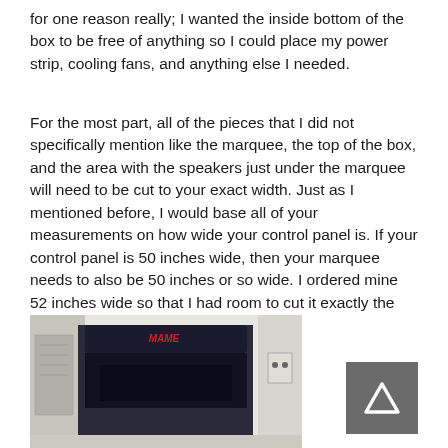for one reason really; I wanted the inside bottom of the box to be free of anything so I could place my power strip, cooling fans, and anything else I needed.
For the most part, all of the pieces that I did not specifically mention like the marquee, the top of the box, and the area with the speakers just under the marquee will need to be cut to your exact width. Just as I mentioned before, I would base all of your measurements on how wide your control panel is. If your control panel is 50 inches wide, then your marquee needs to also be 50 inches or so wide. I ordered mine 52 inches wide so that I had room to cut it exactly the width that I wanted.
[Figure (photo): Photo of an arcade cabinet marquee area showing a dark cabinet with 'MAME' text on the marquee, white wall in background, and a power outlet visible on the right side.]